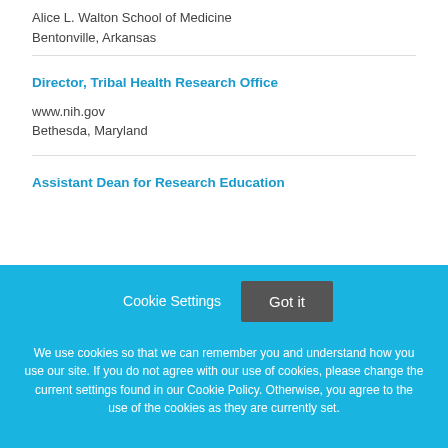Alice L. Walton School of Medicine
Bentonville, Arkansas
Director, Tribal Health Research Office
www.nih.gov
Bethesda, Maryland
Assistant Dean for Research Education
Cookie Settings  Got it

We use cookies so that we can remember you and understand how you use our site. If you do not agree with our use of cookies, please change the current settings found in our Cookie Policy. Otherwise, you agree to the use of the cookies as they are currently set.